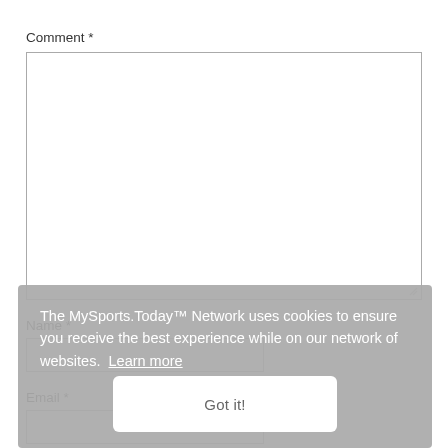Comment *
[Figure (screenshot): Empty comment textarea input box with resize handle]
Name *
[Figure (screenshot): Empty name text input field]
Email *
[Figure (screenshot): Empty email text input field (partially visible)]
The MySports.Today™ Network uses cookies to ensure you receive the best experience while on our network of websites. Learn more
Got it!